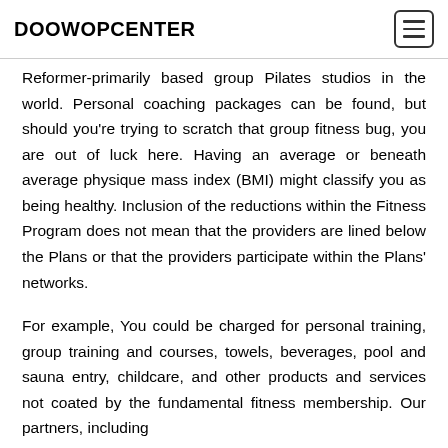DOOWOPCENTER
Reformer-primarily based group Pilates studios in the world. Personal coaching packages can be found, but should you're trying to scratch that group fitness bug, you are out of luck here. Having an average or beneath average physique mass index (BMI) might classify you as being healthy. Inclusion of the reductions within the Fitness Program does not mean that the providers are lined below the Plans or that the providers participate within the Plans' networks.
For example, You could be charged for personal training, group training and courses, towels, beverages, pool and sauna entry, childcare, and other products and services not coated by the fundamental fitness membership. Our partners, including